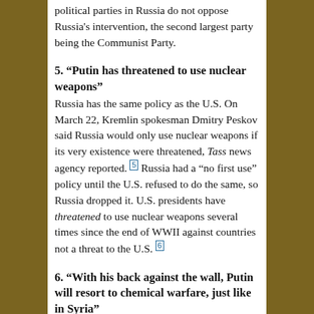political parties in Russia do not oppose Russia's intervention, the second largest party being the Communist Party.
5. “Putin has threatened to use nuclear weapons”
Russia has the same policy as the U.S. On March 22, Kremlin spokesman Dmitry Peskov said Russia would only use nuclear weapons if its very existence were threatened, Tass news agency reported. [5] Russia had a “no first use” policy until the U.S. refused to do the same, so Russia dropped it. U.S. presidents have threatened to use nuclear weapons several times since the end of WWII against countries not a threat to the U.S. [6]
6. “With his back against the wall, Putin will resort to chemical warfare, just like in Syria”
Russia did not use chemical weapons in Syria. Russia negotiated Syrian stockpiles to be destroyed or removed. The chemical attacks in Syria were done by rebels supported by Saudi Arabia and the U.S. [7] If anyone has their back against the wall, it